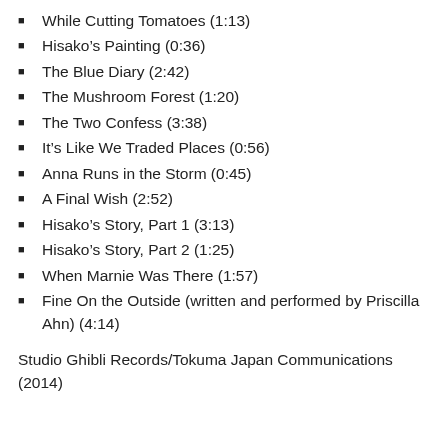While Cutting Tomatoes (1:13)
Hisako’s Painting (0:36)
The Blue Diary (2:42)
The Mushroom Forest (1:20)
The Two Confess (3:38)
It’s Like We Traded Places (0:56)
Anna Runs in the Storm (0:45)
A Final Wish (2:52)
Hisako’s Story, Part 1 (3:13)
Hisako’s Story, Part 2 (1:25)
When Marnie Was There (1:57)
Fine On the Outside (written and performed by Priscilla Ahn) (4:14)
Studio Ghibli Records/Tokuma Japan Communications (2014)